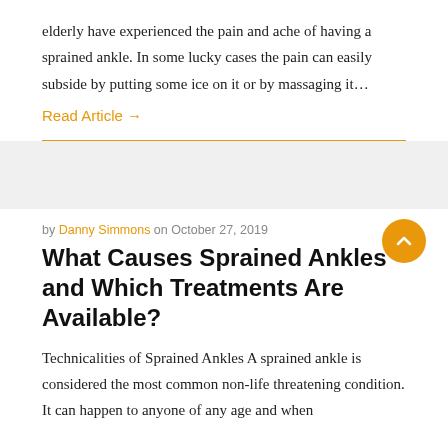elderly have experienced the pain and ache of having a sprained ankle. In some lucky cases the pain can easily subside by putting some ice on it or by massaging it…
Read Article →
by Danny Simmons on October 27, 2019
What Causes Sprained Ankles and Which Treatments Are Available?
Technicalities of Sprained Ankles A sprained ankle is considered the most common non-life threatening condition. It can happen to anyone of any age and when